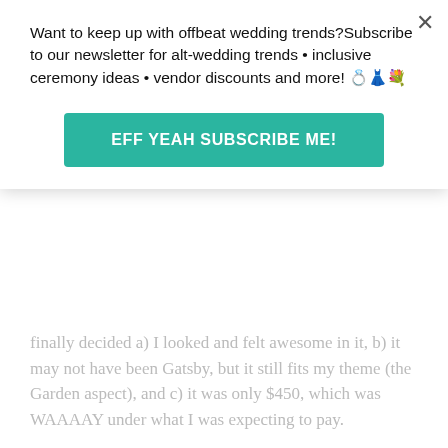Want to keep up with offbeat wedding trends?Subscribe to our newsletter for alt-wedding trends • inclusive ceremony ideas • vendor discounts and more! 💍👗💐
EFF YEAH SUBSCRIBE ME!
finally decided a) I looked and felt awesome in it, b) it may not have been Gatsby, but it still fits my theme (the Garden aspect), and c) it was only $450, which was WAAAAY under what I was expecting to pay.
Best. Decision. Ever. But I did feel weird that there were no tears. . . .
Julianna says:
Feb. 3, 2014 at 1:50 pm